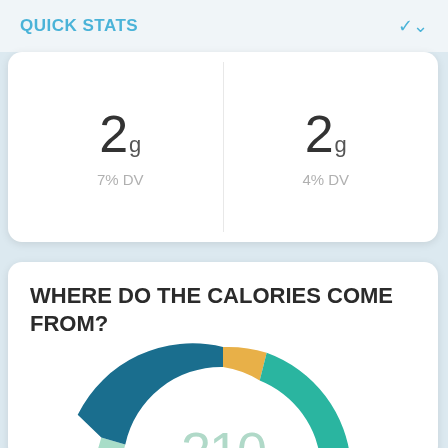QUICK STATS
2g
7% DV
2g
4% DV
WHERE DO THE CALORIES COME FROM?
[Figure (donut-chart): Half-donut chart showing calorie sources. Segments: teal/dark blue (largest), orange/yellow (small), medium teal, and very light teal (smallest). Center number: 210.]